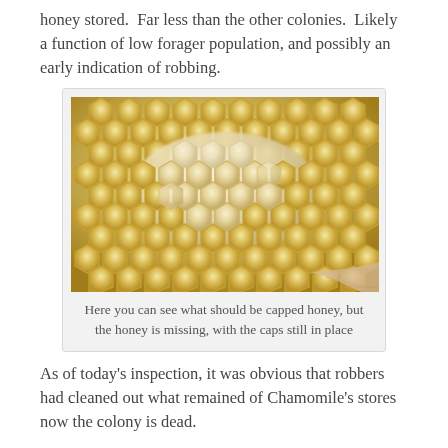honey stored.  Far less than the other colonies.  Likely a function of low forager population, and possibly an early indication of robbing.
[Figure (photo): Close-up photograph of honeycomb showing hexagonal cells, some capped with white wax, with honey missing from cells beneath the caps]
Here you can see what should be capped honey, but the honey is missing, with the caps still in place
As of today's inspection, it was obvious that robbers had cleaned out what remained of Chamomile's stores now the colony is dead.